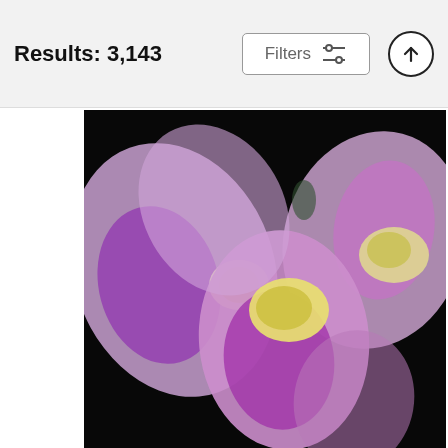Results: 3,143
[Figure (photo): Close-up photograph of purple and yellow orchid flowers against a black background, showing intricate petal details]
Orchid Embrace
Jessica Jenney
$37
[Figure (photo): Interior photograph of an ornate church or cathedral with golden mosaic ceilings, arched vaults, and elaborate Renaissance-era painted decorations]